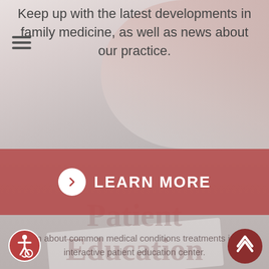Keep up with the latest developments in family medicine, as well as news about our practice.
LEARN MORE
Patient Education
Learn about common medical conditions treatments in our interactive patient education center.
[Figure (screenshot): Accessibility icon - wheelchair symbol in a red circle, bottom left corner]
[Figure (screenshot): Scroll to top button - chevron up arrow in a dark red circle, bottom right corner]